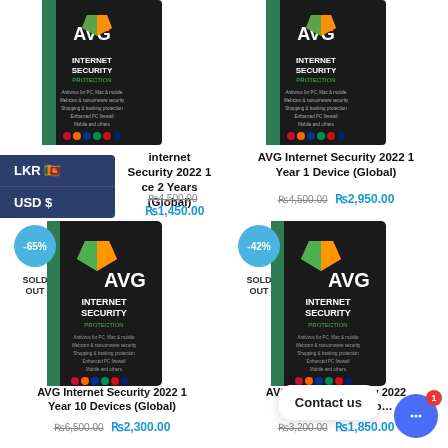[Figure (photo): Top-left partial AVG Internet Security 2022 product box image]
[Figure (photo): Top-right partial AVG Internet Security 2022 product box image]
LKR 🇱🇰
USD $
internet Security 2022 1 ce 2 Years (Global)
AVG Internet Security 2022 1 Year 1 Device (Global)
₨4,500.00 ₨1,450.00
₨4,500.00 ₨2,950.00
-65%
SOLD OUT
[Figure (photo): AVG Internet Security 2022 1 Year 10 Devices (Global) product box]
-42%
SOLD OUT
[Figure (photo): AVG Internet Security 2022 product box - right side]
AVG Internet Security 2022 1 Year 10 Devices (Global)
AVG Internet Security 2022 Devices 1 Year (Global)
₨6,500.00 ₨2,300.00
₨3,200.00 ₨1,850.00
Contact us
1